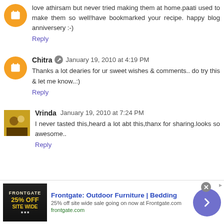love athirsam but never tried making them at home.paati used to make them so well!have bookmarked your recipe. happy blog anniversery :-)
Reply
Chitra  January 19, 2010 at 4:19 PM
Thanks a lot dearies for ur sweet wishes & comments.. do try this & let me know..:)
Reply
Vrinda  January 19, 2010 at 7:24 PM
I never tasted this,heard a lot abt this,thanx for sharing.looks so awesome..
Reply
[Figure (infographic): Advertisement banner for Frontgate: Outdoor Furniture and Bedding, showing 25% off site wide sale, with a close button and forward arrow circle.]